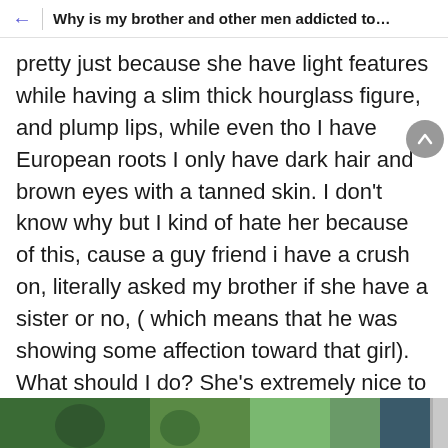Why is my brother and other men addicted to his Algeri...
pretty just because she have light features while having a slim thick hourglass figure, and plump lips, while even tho I have European roots I only have dark hair and brown eyes with a tanned skin. I don't know why but I kind of hate her because of this, cause a guy friend i have a crush on, literally asked my brother if she have a sister or no, ( which means that he was showing some affection toward that girl). What should I do? She's extremely nice to me tho, but I can't help but wanting to slap her, and I hate her company cause she sometimes talk about her culture constantly but men always act interested just because she's pretty.
[Figure (photo): Bottom strip showing a partial outdoor photo with green foliage and figures]